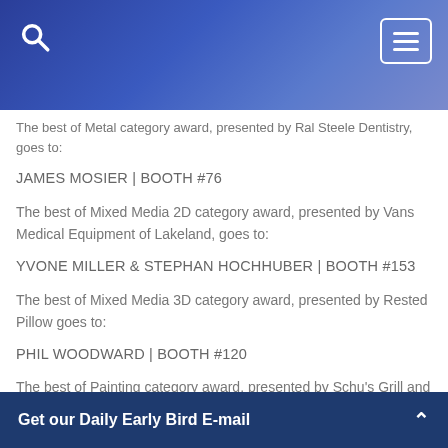[Navigation bar with search icon and menu button]
The best of Metal category award, presented by Ral Steele Dentistry, goes to:
JAMES MOSIER | BOOTH #76
The best of Mixed Media 2D category award, presented by Vans Medical Equipment of Lakeland, goes to:
YVONE MILLER & STEPHAN HOCHHUBER | BOOTH #153
The best of Mixed Media 3D category award, presented by Rested Pillow goes to:
PHIL WOODWARD | BOOTH #120
The best of Painting category award, presented by Schu's Grill and Bar, goes to:
JESSICA LADD | BOOTH #31
Get our Daily Early Bird E-mail